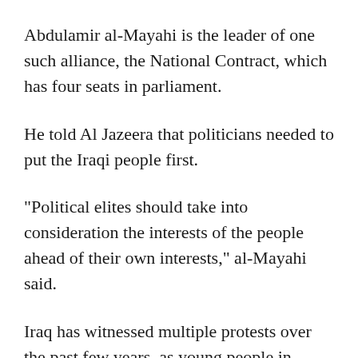Abdulamir al-Mayahi is the leader of one such alliance, the National Contract, which has four seats in parliament.
He told Al Jazeera that politicians needed to put the Iraqi people first.
“Political elites should take into consideration the interests of the people ahead of their own interests,” al-Mayahi said.
Iraq has witnessed multiple protests over the past few years, as young people in particular decry corruption, poverty, and the way the country has been run.